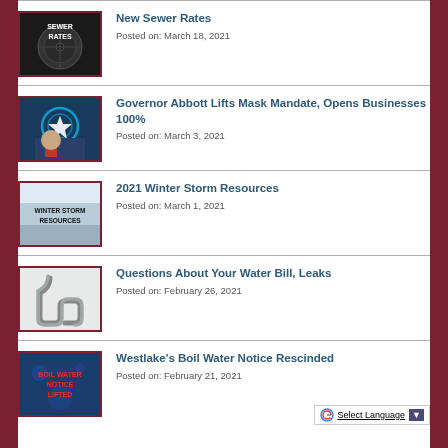New Sewer Rates — Posted on: March 18, 2021
Governor Abbott Lifts Mask Mandate, Opens Businesses 100% — Posted on: March 3, 2021
2021 Winter Storm Resources — Posted on: March 1, 2021
Questions About Your Water Bill, Leaks — Posted on: February 26, 2021
Westlake's Boil Water Notice Rescinded — Posted on: February 21, 2021